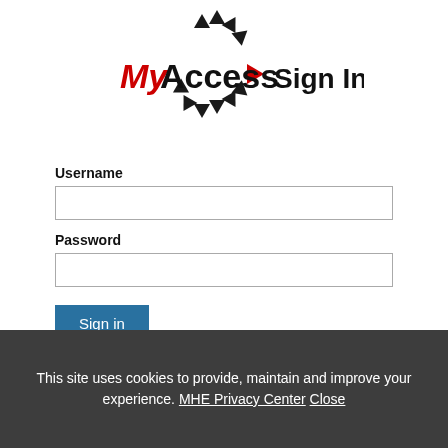[Figure (logo): MyAccess logo with rotating triangle arrows in a circular arrangement, with a red right-pointing triangle, followed by 'Sign In' text in bold]
Username
[Figure (screenshot): Username text input field, empty, with a light border]
Password
[Figure (screenshot): Password text input field, empty, with a light border]
Sign in
Forgot Username? Forgot Password?
This site uses cookies to provide, maintain and improve your experience. MHE Privacy Center Close